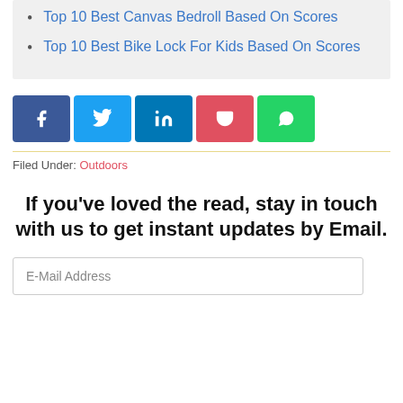Top 10 Best Canvas Bedroll Based On Scores
Top 10 Best Bike Lock For Kids Based On Scores
[Figure (other): Social share buttons: Facebook, Twitter, LinkedIn, Pocket, WhatsApp]
Filed Under: Outdoors
If you've loved the read, stay in touch with us to get instant updates by Email.
E-Mail Address